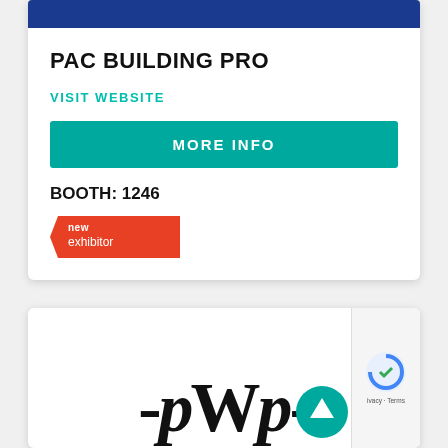[Figure (other): Blue header bar at top of card]
PAC BUILDING PRO
VISIT WEBSITE
MORE INFO
BOOTH: 1246
[Figure (logo): New exhibitor badge/ribbon in red with text 'new exhibitor']
[Figure (logo): Second card showing PWP logo text partially visible, with heart icon and up arrow button, and reCAPTCHA widget]